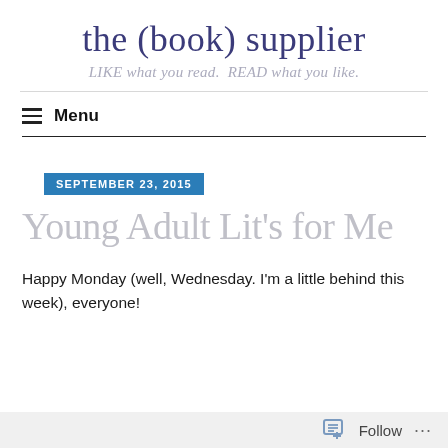the (book) supplier
LIKE what you read. READ what you like.
Menu
SEPTEMBER 23, 2015
Young Adult Lit's for Me
Happy Monday (well, Wednesday. I'm a little behind this week), everyone!
Follow ...